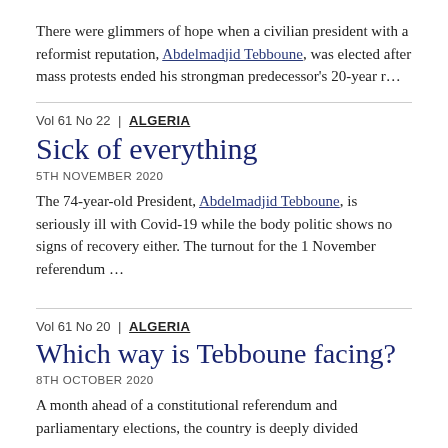There were glimmers of hope when a civilian president with a reformist reputation, Abdelmadjid Tebboune, was elected after mass protests ended his strongman predecessor's 20-year r…
Vol 61 No 22 | ALGERIA
Sick of everything
5TH NOVEMBER 2020
The 74-year-old President, Abdelmadjid Tebboune, is seriously ill with Covid-19 while the body politic shows no signs of recovery either. The turnout for the 1 November referendum …
Vol 61 No 20 | ALGERIA
Which way is Tebboune facing?
8TH OCTOBER 2020
A month ahead of a constitutional referendum and parliamentary elections, the country is deeply divided